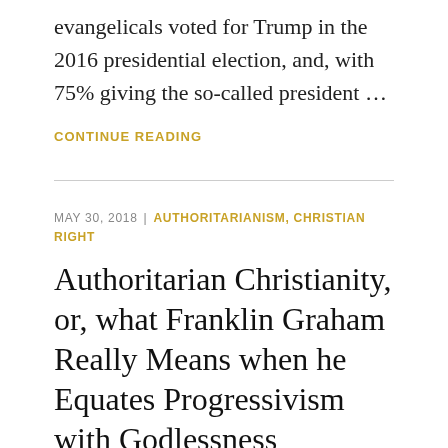evangelicals voted for Trump in the 2016 presidential election, and, with 75% giving the so-called president ...
CONTINUE READING
MAY 30, 2018  |  AUTHORITARIANISM, CHRISTIAN RIGHT
Authoritarian Christianity, or, what Franklin Graham Really Means when he Equates Progressivism with Godlessness